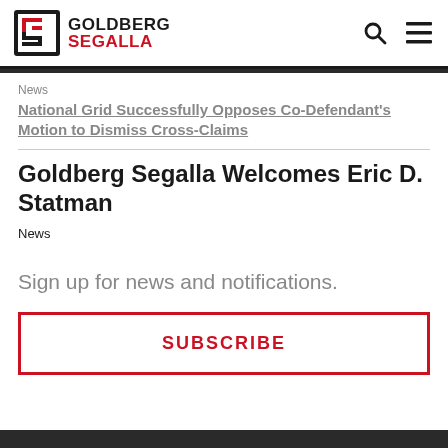[Figure (logo): Goldberg Segalla law firm logo with stylized G/S icon and firm name in black and red]
News
National Grid Successfully Opposes Co-Defendant's Motion to Dismiss Cross-Claims
Goldberg Segalla Welcomes Eric D. Statman
News
Sign up for news and notifications.
SUBSCRIBE